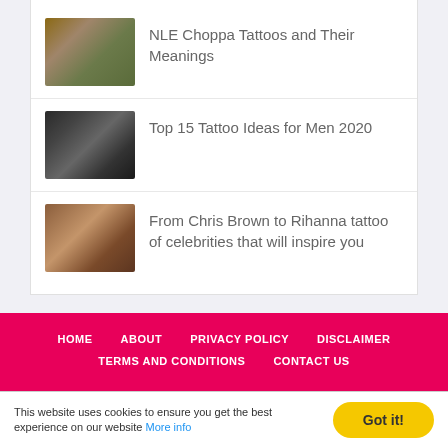[Figure (photo): Thumbnail image of NLE Choppa article - person with tattoos outdoors]
NLE Choppa Tattoos and Their Meanings
[Figure (photo): Thumbnail image of Top 15 Tattoo Ideas for Men 2020 article - arm tattoo]
Top 15 Tattoo Ideas for Men 2020
[Figure (photo): Thumbnail image of celebrity tattoo article - neck/back tattoo]
From Chris Brown to Rihanna tattoo of celebrities that will inspire you
HOME  ABOUT  PRIVACY POLICY  DISCLAIMER  TERMS AND CONDITIONS  CONTACT US
This website uses cookies to ensure you get the best experience on our website More info